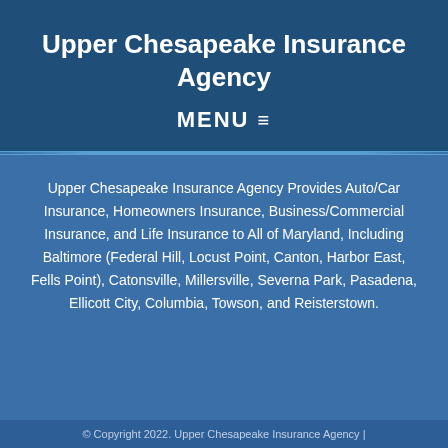Upper Chesapeake Insurance Agency
MENU ≡
Upper Chesapeake Insurance Agency Provides Auto/Car Insurance, Homeowners Insurance, Business/Commercial Insurance, and Life Insurance to All of Maryland, Including Baltimore (Federal Hill, Locust Point, Canton, Harbor East, Fells Point), Catonsville, Millersville, Severna Park, Pasadena, Ellicott City, Columbia, Towson, and Reisterstown.
© Copyright 2022. Upper Chesapeake Insurance Agency |